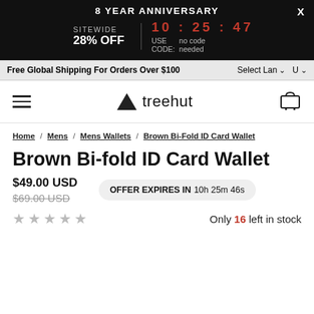8 YEAR ANNIVERSARY SITEWIDE 28% OFF 10 : 25 : 47 USE CODE: no code needed
Free Global Shipping For Orders Over $100 Select Lan U
treehut
Home / Mens / Mens Wallets / Brown Bi-Fold ID Card Wallet
Brown Bi-fold ID Card Wallet
$49.00 USD
$69.00 USD
OFFER EXPIRES IN 10h 25m 46s
Only 16 left in stock